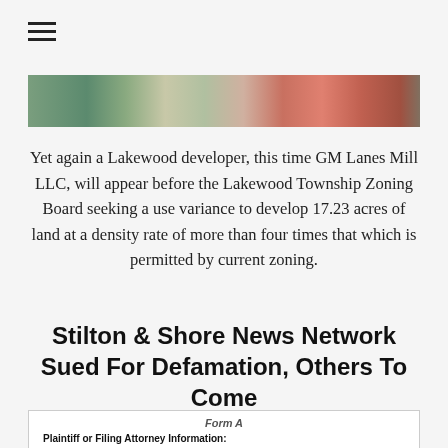[Figure (other): Hamburger menu icon (three horizontal lines)]
[Figure (photo): Aerial map or satellite image banner showing land parcels in green, tan and red tones]
Yet again a Lakewood developer, this time GM Lanes Mill LLC, will appear before the Lakewood Township Zoning Board seeking a use variance to develop 17.23 acres of land at a density rate of more than four times that which is permitted by current zoning.
Stilton & Shore News Network Sued For Defamation, Others To Come
| Form A |
| Plaintiff or Filing Attorney Information: |
| Name | LEONARD MAYWEATHER |
| NJ Attorney ID Number |  |
| Address | 270 GREENWOOD LOOP ROAD |
|  | BRICK NJ 08724 |